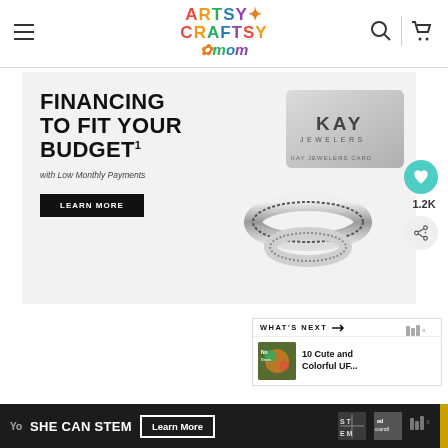Artsy Craftsy Mom — navigation header with hamburger menu, logo, search and cart icons
[Figure (photo): Kay Jewelers advertisement banner: 'FINANCING TO FIT YOUR BUDGET¹ with Low Monthly Payments — LEARN MORE' with image of KAY Jewelers credit card and diamond ring]
[Figure (infographic): Social sidebar with heart/like icon showing 1.2K and share icon]
[Figure (screenshot): What's Next panel showing thumbnail and title '10 Cute and Colorful UF...']
[Figure (logo): Mediavine logo watermark]
[Figure (infographic): Bottom banner ad: 'SHE CAN STEM Learn More' with STEM and Ad Council logos and Mediavine logo]